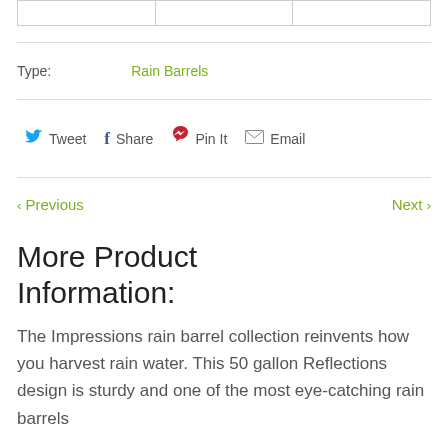|  |  |  |
| --- | --- | --- |
|  |  |  |
Type:   Rain Barrels
Tweet  Share  Pin It  Email
< Previous    Next >
More Product Information:
The Impressions rain barrel collection reinvents how you harvest rain water. This 50 gallon Reflections design is sturdy and one of the most eye-catching rain barrels